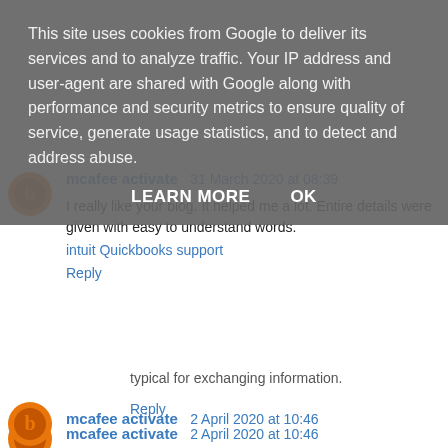This site uses cookies from Google to deliver its services and to analyze traffic. Your IP address and user-agent are shared with Google along with performance and security metrics to ensure quality of service, generate usage statistics, and to detect and address abuse.
LEARN MORE    OK
typical for exchanging information.
Reply
mcafee activate  31 March 2020 at 08:39
I really like your blog. It helped me a lot. Entire details were given with easy to understand words.
intuit Quickbooks support
Reply
mcafee activate  2 April 2020 at 10:46